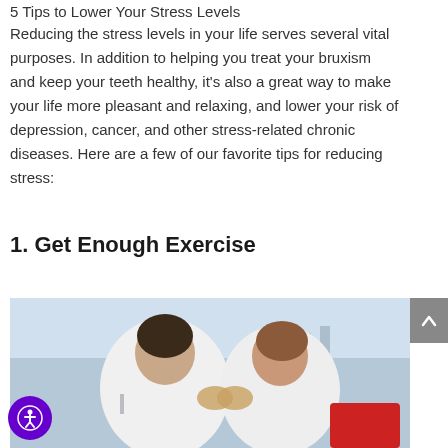5 Tips to Lower Your Stress Levels
Reducing the stress levels in your life serves several vital purposes. In addition to helping you treat your bruxism and keep your teeth healthy, it’s also a great way to make your life more pleasant and relaxing, and lower your risk of depression, cancer, and other stress-related chronic diseases. Here are a few of our favorite tips for reducing stress:
1. Get Enough Exercise
[Figure (photo): Two women facing each other and high-fiving or pressing hands together outdoors, both wearing white shirts, with a light blue sky and urban background behind them]